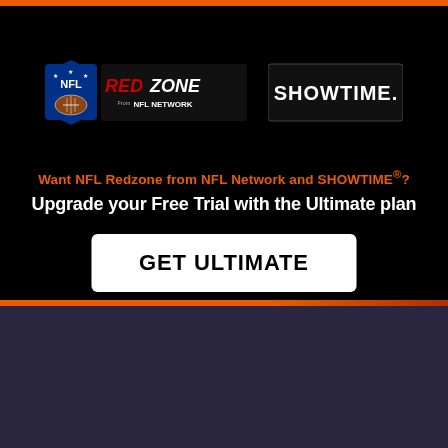[Figure (logo): NFL RedZone from NFL Network logo — shield with NFL text and red RedZone branding]
[Figure (logo): SHOWTIME logo in white bold letters on black background]
Want NFL Redzone from NFL Network and SHOWTIME®?
Upgrade your Free Trial with the Ultimate plan
GET ULTIMATE
[Figure (screenshot): Fubo TV interface screenshot showing Guide with Live TV tab and SportsCenter program]